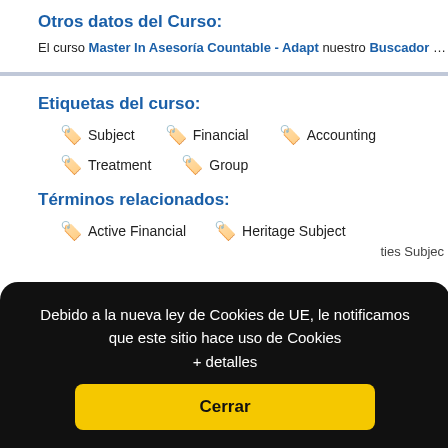Otros datos del Curso:
El curso Master In Asesoría Countable - Adapt... nuestro Buscador de Cursos y Masters desde e...
Etiquetas del curso:
Subject
Financial
Accounting
Treatment
Group
Términos relacionados:
Active Financial
Heritage Subject
Debido a la nueva ley de Cookies de UE, le notificamos que este sitio hace uso de Cookies
+ detalles
Cerrar